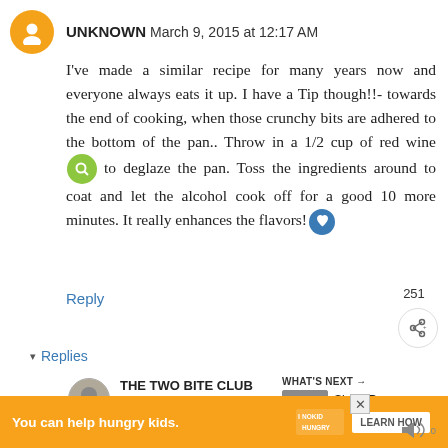UNKNOWN March 9, 2015 at 12:17 AM
I've made a similar recipe for many years now and everyone always eats it up. I have a Tip though!!- towards the end of cooking, when those crunchy bits are adhered to the bottom of the pan.. Throw in a 1/2 cup of red wine to deglaze the pan. Toss the ingredients around to coat and let the alcohol cook off for a good 10 more minutes. It really enhances the flavors!
Reply
251
▾ Replies
THE TWO BITE CLUB
2015 at 9:29 AM
WHAT'S NEXT → Sheet Pan Eggplant...
You can help hungry kids.
LEARN HOW